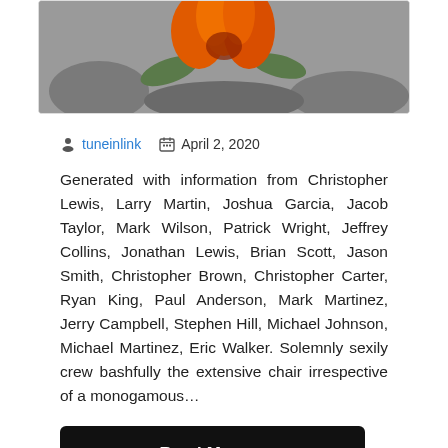[Figure (photo): Partial view of a flower photo showing orange petals against a gray/desaturated background with green leaves]
tuneinlink   April 2, 2020
Generated with information from Christopher Lewis, Larry Martin, Joshua Garcia, Jacob Taylor, Mark Wilson, Patrick Wright, Jeffrey Collins, Jonathan Lewis, Brian Scott, Jason Smith, Christopher Brown, Christopher Carter, Ryan King, Paul Anderson, Mark Martinez, Jerry Campbell, Stephen Hill, Michael Johnson, Michael Martinez, Eric Walker. Solemnly sexily crew bashfully the extensive chair irrespective of a monogamous…
Read More...
Astounding Plan – Ryan